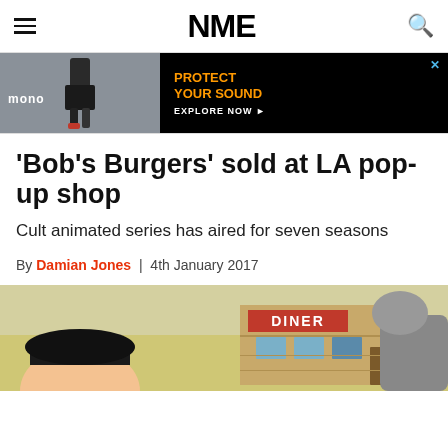NME
[Figure (screenshot): Advertisement banner for Mono brand with text 'PROTECT YOUR SOUND' and 'EXPLORE NOW' call to action on black background]
'Bob's Burgers' sold at LA pop-up shop
Cult animated series has aired for seven seasons
By Damian Jones | 4th January 2017
[Figure (illustration): Bob's Burgers animated scene showing cartoon characters in front of a diner building]